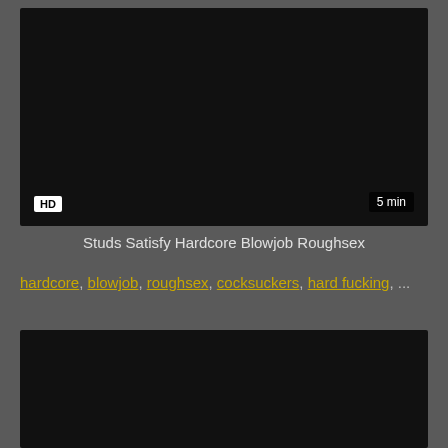[Figure (screenshot): Dark/black video thumbnail with HD badge bottom-left and 5 min duration badge bottom-right]
Studs Satisfy Hardcore Blowjob Roughsex
hardcore, blowjob, roughsex, cocksuckers, hard fucking, ...
[Figure (screenshot): Dark/black video thumbnail (second video, partially visible)]